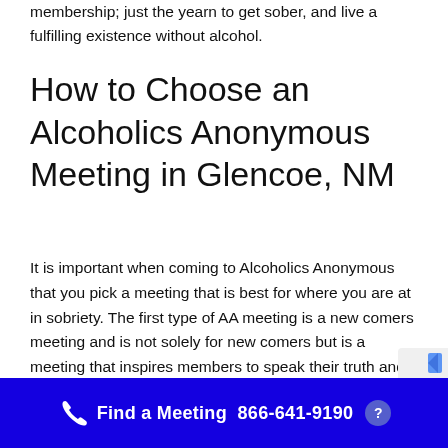membership; just the yearn to get sober, and live a fulfilling existence without alcohol.
How to Choose an Alcoholics Anonymous Meeting in Glencoe, NM
It is important when coming to Alcoholics Anonymous that you pick a meeting that is best for where you are at in sobriety. The first type of AA meeting is a new comers meeting and is not solely for new comers but is a meeting that inspires members to speak their truth and reach out for help. The second type of meeting
Find a Meeting  866-641-9190